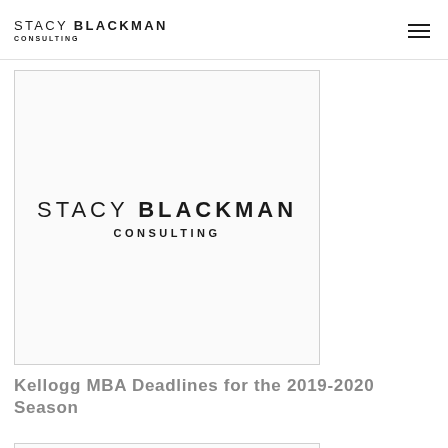STACY BLACKMAN CONSULTING
[Figure (logo): Stacy Blackman Consulting logo centered in a bordered card]
Kellogg MBA Deadlines for the 2019-2020 Season
[Figure (photo): Bottom partial card image, cropped]